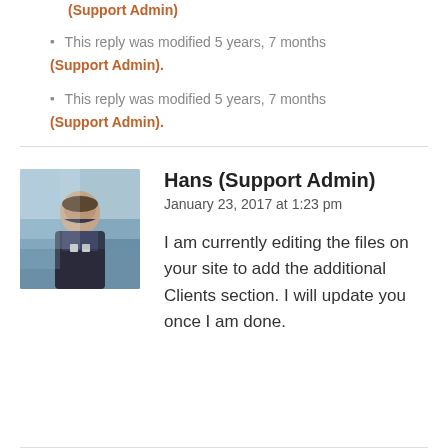(Support Admin)
This reply was modified 5 years, 7 months (Support Admin).
This reply was modified 5 years, 7 months (Support Admin).
Hans (Support Admin)
January 23, 2017 at 1:23 pm
I am currently editing the files on your site to add the additional Clients section. I will update you once I am done.